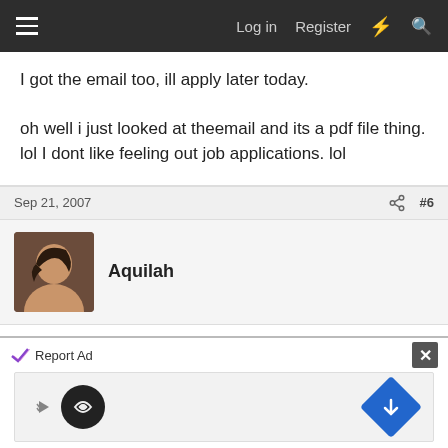Log in  Register
I got the email too, ill apply later today.

oh well i just looked at theemail and its a pdf file thing. lol I dont like feeling out job applications. lol
Sep 21, 2007  #6
Aquilah
Well, I gave up by page 3! It's 7 pages, and at first it seems like a questionnaire. Then they suddenly want to know your most embarrassing moment... Then they
[Figure (screenshot): Ad banner with Report Ad label and close button, containing icons for an advertisement]